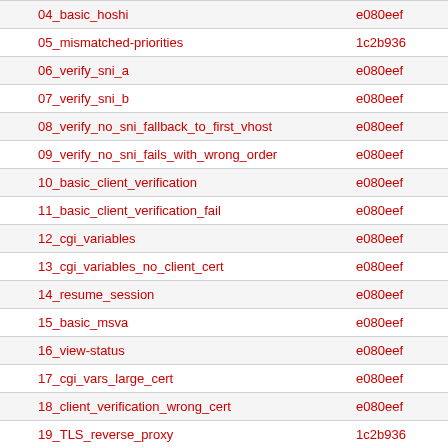|  | Name | Hash |
| --- | --- | --- |
|  | 04_basic_hoshi | e080eef |
|  | 05_mismatched-priorities | 1c2b936 |
|  | 06_verify_sni_a | e080eef |
|  | 07_verify_sni_b | e080eef |
|  | 08_verify_no_sni_fallback_to_first_vhost | e080eef |
|  | 09_verify_no_sni_fails_with_wrong_order | e080eef |
|  | 10_basic_client_verification | e080eef |
|  | 11_basic_client_verification_fail | e080eef |
|  | 12_cgi_variables | e080eef |
|  | 13_cgi_variables_no_client_cert | e080eef |
|  | 14_resume_session | e080eef |
|  | 15_basic_msva | e080eef |
|  | 16_view-status | e080eef |
|  | 17_cgi_vars_large_cert | e080eef |
|  | 18_client_verification_wrong_cert | e080eef |
|  | 19_TLS_reverse_proxy | 1c2b936 |
|  | 20_TLS_reverse_proxy_client_auth | e080eef |
|  | 21_TLS_reverse_proxy_wrong_cert | e080eef |
|  | 22_TLS_reverse_proxy_crl_revoke | e080eef |